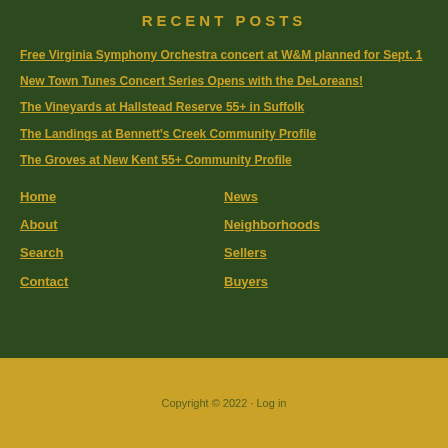RECENT POSTS
Free Virginia Symphony Orchestra concert at W&M planned for Sept. 1
New Town Tunes Concert Series Opens with the DeLoreans!
The Vineyards at Hallstead Reserve 55+ in Suffolk
The Landings at Bennett's Creek Community Profile
The Groves at New Kent 55+ Community Profile
Home
News
About
Neighborhoods
Search
Sellers
Contact
Buyers
Copyright © 2022 · Log in